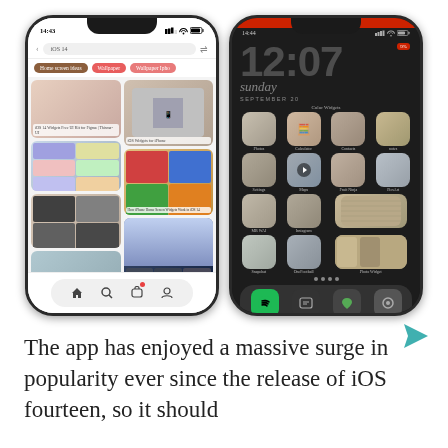[Figure (screenshot): Two smartphone screenshots side by side. Left phone shows a Pinterest-like app at 14:43 searching for 'iOS 14' with home screen ideas results. Right phone shows a dark-themed home screen customization app at 14:44 in recording mode, showing 12:07 Sunday September 20 with custom app icons in a dark aesthetic grid, and a Save button at the bottom.]
The app has enjoyed a massive surge in popularity ever since the release of iOS fourteen, so it should